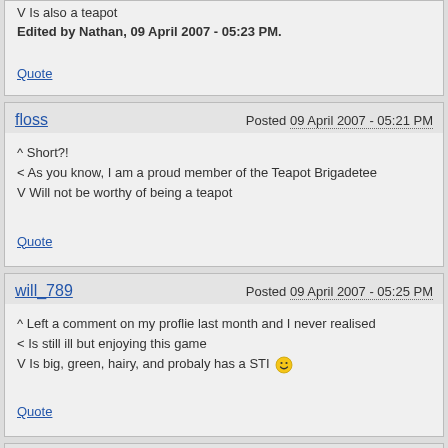V Is also a teapot
Edited by Nathan, 09 April 2007 - 05:23 PM.
Quote
floss
Posted 09 April 2007 - 05:21 PM
^ Short?!
< As you know, I am a proud member of the Teapot Brigadetee
V Will not be worthy of being a teapot
Quote
will_789
Posted 09 April 2007 - 05:25 PM
^ Left a comment on my proflie last month and I never realised
< Is still ill but enjoying this game
V Is big, green, hairy, and probaly has a STI
Quote
Nathan
Posted 09 April 2007 - 05:27 PM